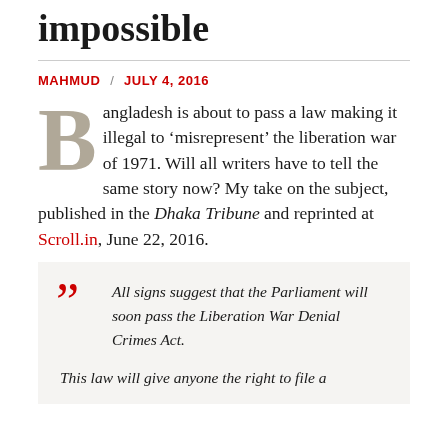impossible
MAHMUD / JULY 4, 2016
Bangladesh is about to pass a law making it illegal to ‘misrepresent’ the liberation war of 1971. Will all writers have to tell the same story now? My take on the subject, published in the Dhaka Tribune and reprinted at Scroll.in, June 22, 2016.
All signs suggest that the Parliament will soon pass the Liberation War Denial Crimes Act.

This law will give anyone the right to file a